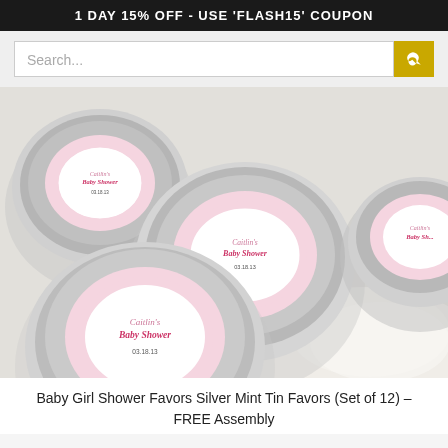1 DAY 15% OFF - USE 'FLASH15' COUPON
Search...
[Figure (photo): Three silver mint tins with pink baby shower labels reading 'Baby Shower' with decorative scalloped borders, displayed on a white surface with sheer ribbon.]
Baby Girl Shower Favors Silver Mint Tin Favors (Set of 12) – FREE Assembly